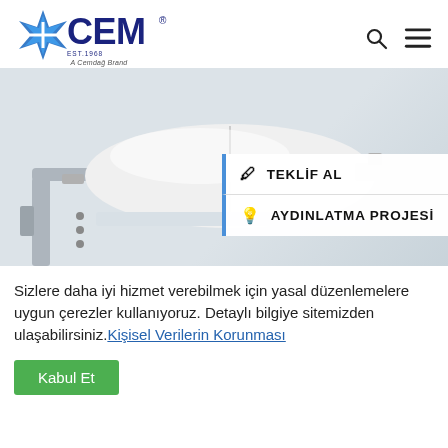[Figure (logo): CEM brand logo with blue star/compass icon, 'CEM' text in dark navy, 'EST.1968' and 'A Cemdağ Brand' subtitle]
[Figure (photo): White street light fixture/luminaire attached to a pole, shown from the side, with two call-to-action buttons overlaid: 'TEKLİF AL' and 'AYDINLATMA PROJESİ']
Sizlere daha iyi hizmet verebilmek için yasal düzenlemelere uygun çerezler kullanıyoruz. Detaylı bilgiye sitemizden ulaşabilirsiniz. Kişisel Verilerin Korunması
Kabul Et